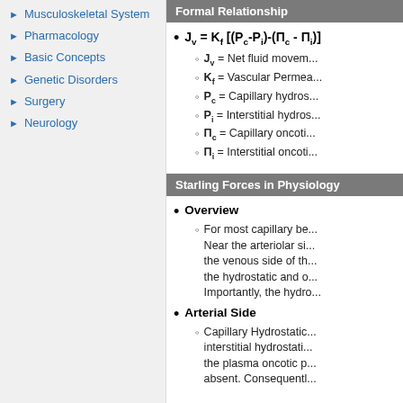Musculoskeletal System
Pharmacology
Basic Concepts
Genetic Disorders
Surgery
Neurology
Formal Relationship
J_v = K_f [(P_c-P_i)-(Π_c - Π_i)]
J_v = Net fluid movem...
K_f = Vascular Permea...
P_c = Capillary hydros...
P_i = Interstitial hydros...
Π_c = Capillary oncoti...
Π_i = Interstitial oncoti...
Starling Forces in Physiology
Overview
For most capillary be... Near the arteriolar si... the venous side of th... the hydrostatic and o... Importantly, the hydro...
Arterial Side
Capillary Hydrostatic... interstitial hydrostati... the plasma oncotic p... absent. Consequentl...